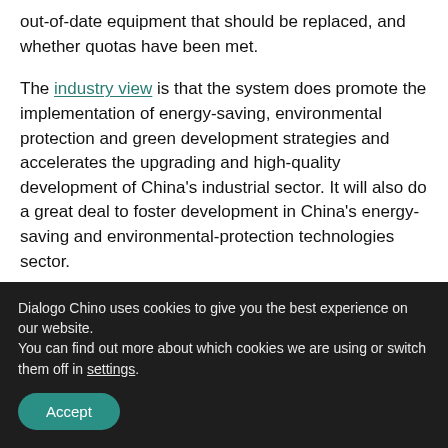out-of-date equipment that should be replaced, and whether quotas have been met.
The industry view is that the system does promote the implementation of energy-saving, environmental protection and green development strategies and accelerates the upgrading and high-quality development of China's industrial sector. It will also do a great deal to foster development in China's energy-saving and environmental-protection technologies sector.
Dialogo Chino uses cookies to give you the best experience on our website.
You can find out more about which cookies we are using or switch them off in settings.
Accept